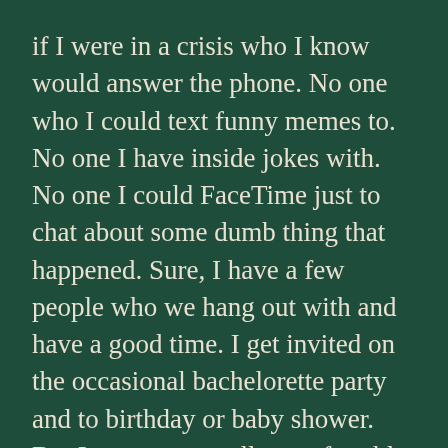if I were in a crisis who I know would answer the phone. No one who I could text funny memes to. No one I have inside jokes with. No one I could FaceTime just to chat about some dumb thing that happened. Sure, I have a few people who we hang out with and have a good time. I get invited on the occasional bachelorette party and to birthday or baby shower. But I am never totally comfortable being there and I find reasons to RSVP “No.”
People say that motherhood can be lonely. Your life revolves around your kid’s needs